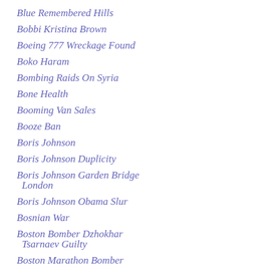Blue Remembered Hills
Bobbi Kristina Brown
Boeing 777 Wreckage Found
Boko Haram
Bombing Raids On Syria
Bone Health
Booming Van Sales
Booze Ban
Boris Johnson
Boris Johnson Duplicity
Boris Johnson Garden Bridge London
Boris Johnson Obama Slur
Bosnian War
Boston Bomber Dzhokhar Tsarnaev Guilty
Boston Marathon Bomber